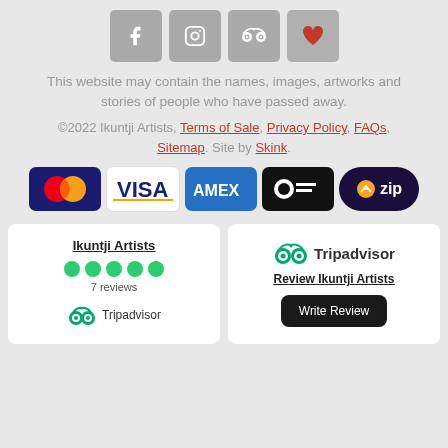[Figure (other): Social media icons row: Facebook, Instagram, Tripadvisor, and a heart/favourite icon, each in a grey square button]
This website may contain the names, images, artworks and stories of people who have passed away.
©2022 Ikuntji Artists, Terms of Sale, Privacy Policy, FAQs, Sitemap. Site by Skink.
[Figure (logo): Payment method logos: Mastercard, Visa, Amex, Direct, Zip]
[Figure (other): Two Tripadvisor review widgets side by side. Left: 'Ikuntji Artists' with 5 green dots, '7 reviews', and Tripadvisor logo. Right: Tripadvisor logo, 'Review Ikuntji Artists', and a 'Write Review' black button.]